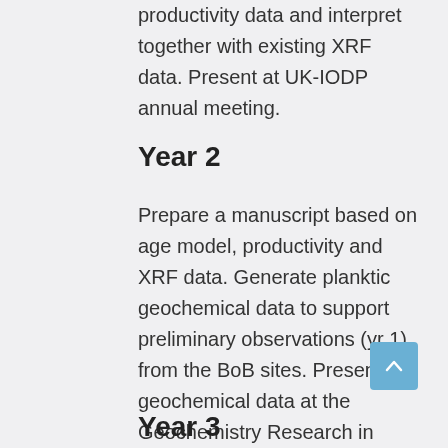isotope stratigraphy and paleosphere productivity data and interpret together with existing XRF data. Present at UK-IODP annual meeting.
Year 2
Prepare a manuscript based on age model, productivity and XRF data. Generate planktic geochemical data to support preliminary observations (yr 1) from the BoB sites. Present geochemical data at the Geochemistry Research in Progress meeting or Palaeopercs seminar.
Year 3